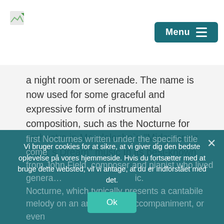[Figure (logo): Small broken/placeholder image icon in top left corner]
[Figure (screenshot): Teal/dark cyan Menu button with hamburger icon in top right corner]
a night room or serenade. The name is now used for some graceful and expressive form of instrumental composition, such as the Nocturne for orchestra in Mendelsohn`s "Midsummer Night`s Dream" music In its best-known form as a one-movement character piece usually written for solo piano, the Nocturne was cultivated especially in the 19th century. The
Vi bruger cookies for at sikre, at vi giver dig den bedste oplevelse på vores hjemmeside. Hvis du fortsætter med at bruge dette websted, vil vi antage, at du er indforstået med det.